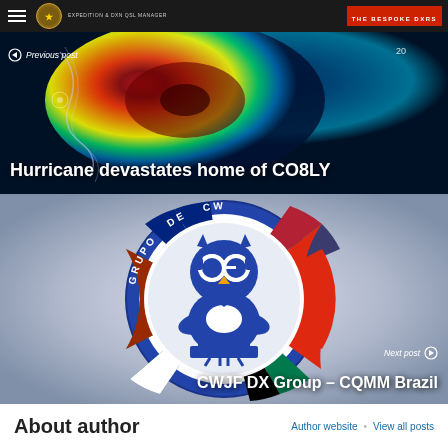Navigation bar with hamburger menu, expedition logo, and THE BESPOKE DXRS branding
[Figure (photo): Hurricane satellite image in false color showing storm system over Caribbean/Gulf region]
Previous post — Hurricane devastates home of CO8LY
[Figure (logo): CWJF DX Group circular logo featuring an owl with world globe eyes wearing headphones, surrounded by international flags including Australia, US, China, Portugal, Mexico, South Africa, with text GRUPO DE CW around the border]
Next post — CWJF DX Group – CQMM Brazil
About author
Author website  View all posts